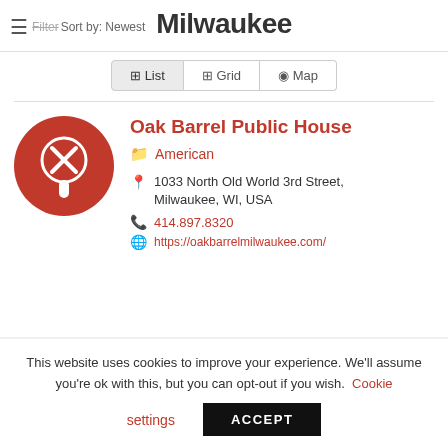Milwaukee
Filter  Sort by: Newest
List  Grid  Map
Oak Barrel Public House
American
1033 North Old World 3rd Street, Milwaukee, WI, USA
414.897.8320
https://oakbarrelmilwaukee.com/
This website uses cookies to improve your experience. We'll assume you're ok with this, but you can opt-out if you wish. Cookie settings ACCEPT